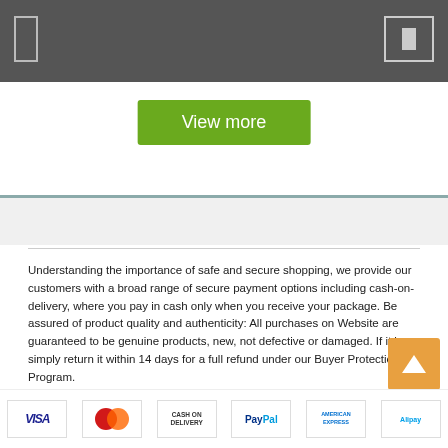View more
Understanding the importance of safe and secure shopping, we provide our customers with a broad range of secure payment options including cash-on-delivery, where you pay in cash only when you receive your package. Be assured of product quality and authenticity: All purchases on Website are guaranteed to be genuine products, new, not defective or damaged. If it is, simply return it within 14 days for a full refund under our Buyer Protection Program.
Nationwide Sales - Payment Upon Delivery - Free Returns
[Figure (other): Payment method icons: VISA, MasterCard, Cash on Delivery, PayPal, American Express, Alipay]